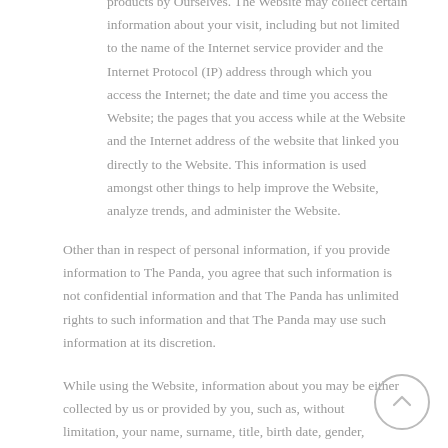products by Ourselves. The Website may collect certain information about your visit, including but not limited to the name of the Internet service provider and the Internet Protocol (IP) address through which you access the Internet; the date and time you access the Website; the pages that you access while at the Website and the Internet address of the website that linked you directly to the Website. This information is used amongst other things to help improve the Website, analyze trends, and administer the Website.
Other than in respect of personal information, if you provide information to The Panda, you agree that such information is not confidential information and that The Panda has unlimited rights to such information and that The Panda may use such information at its discretion.
While using the Website, information about you may be either collected by us or provided by you, such as, without limitation, your name, surname, title, birth date, gender,